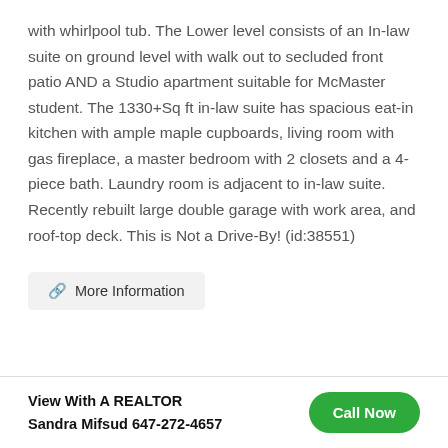with whirlpool tub. The Lower level consists of an In-law suite on ground level with walk out to secluded front patio AND a Studio apartment suitable for McMaster student. The 1330+Sq ft in-law suite has spacious eat-in kitchen with ample maple cupboards, living room with gas fireplace, a master bedroom with 2 closets and a 4-piece bath. Laundry room is adjacent to in-law suite. Recently rebuilt large double garage with work area, and roof-top deck. This is Not a Drive-By! (id:38551)
More Information
View With A REALTOR
Sandra Mifsud 647-272-4657
Call Now